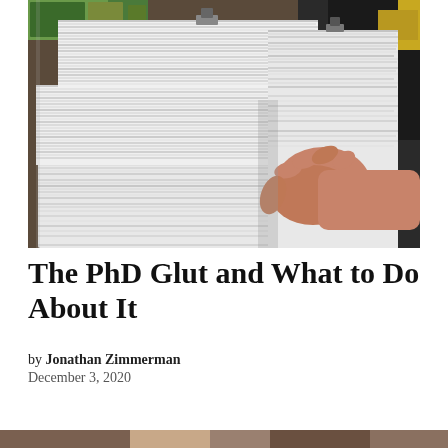[Figure (photo): A person holding a very large, thick stack of white papers/documents, with bookshelves visible in the background.]
The PhD Glut and What to Do About It
by Jonathan Zimmerman
December 3, 2020
[Figure (photo): Partial photo visible at the bottom of the page, cropped.]